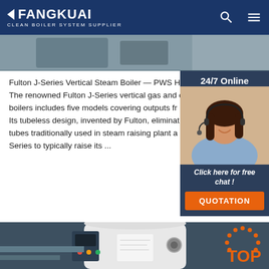FANGKUAI Clean Boiler System Supplier
[Figure (photo): Partial view of industrial boiler equipment, top image strip]
Fulton J-Series Vertical Steam Boiler — PWS Hu... The renowned Fulton J-Series vertical gas and o... boilers includes five models covering outputs fr... Its tubeless design, invented by Fulton, eliminat... tubes traditionally used in steam raising plant a... Series to typically raise its ...
[Figure (photo): Customer service representative with headset, 24/7 Online chat widget with text: Click here for free chat! and QUOTATION button]
[Figure (photo): Industrial boiler tank in a plant room, with TOP badge overlay, bottom image strip]